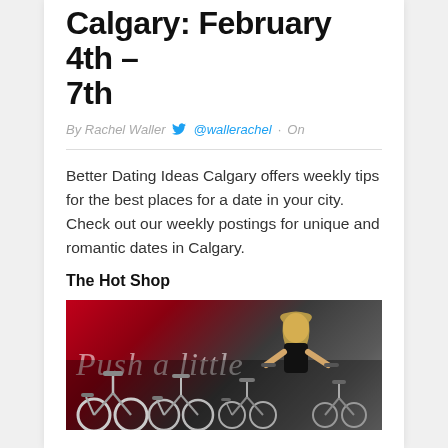Better Dating Ideas Calgary: February 4th – 7th
By Rachel Waller  @wallerachel  ·  On
Better Dating Ideas Calgary offers weekly tips for the best places for a date in your city. Check out our weekly postings for unique and romantic dates in Calgary.
The Hot Shop
[Figure (photo): Indoor cycling studio with spin bikes and a woman instructor on a bike. Background has neon-style cursive text 'Push a little' in pink/white on a dark wall with red lighting.]